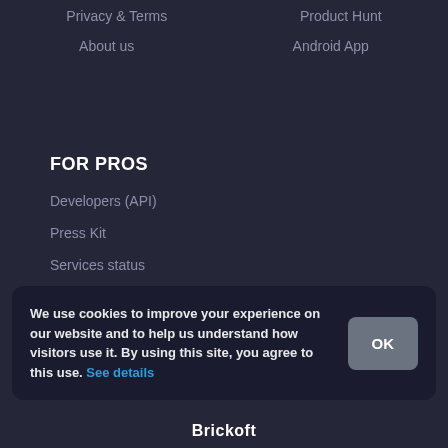Privacy & Terms
Product Hunt
About us
Android App
FOR PROS
Developers (API)
Press Kit
Services status
We use cookies to improve your experience on our website and to help us understand how visitors use it. By using this site, you agree to this use. See details
Brickoft